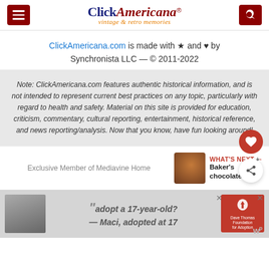Click Americana — vintage & retro memories
ClickAmericana.com is made with ★ and ♥ by Synchronista LLC — © 2011-2022
Note: ClickAmericana.com features authentic historical information, and is not intended to represent current best practices on any topic, particularly with regard to health and safety. Material on this site is provided for education, criticism, commentary, cultural reporting, entertainment, historical reference, and news reporting/analysis. Now that you know, have fun looking around!
Exclusive Member of Mediavine Home
WHAT'S NEXT → Baker's chocolate n...
[Figure (photo): Advertisement banner: adopt a 17-year-old? — Maci, adopted at 17. Dave Thomas Foundation for Adoption logo.]